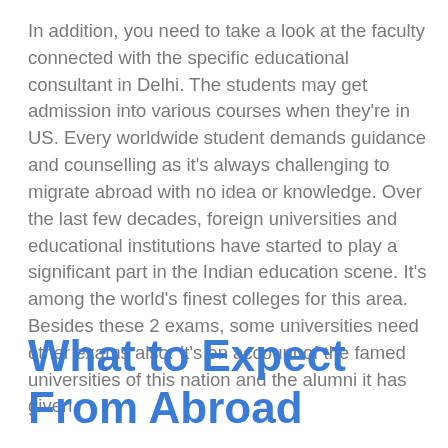In addition, you need to take a look at the faculty connected with the specific educational consultant in Delhi. The students may get admission into various courses when they're in US. Every worldwide student demands guidance and counselling as it's always challenging to migrate abroad with no idea or knowledge. Over the last few decades, foreign universities and educational institutions have started to play a significant part in the Indian education scene. It's among the world's finest colleges for this area. Besides these 2 exams, some universities need other exams also. It's on account of the famed universities of this nation and the alumni it has given.
What to Expect From Abroad